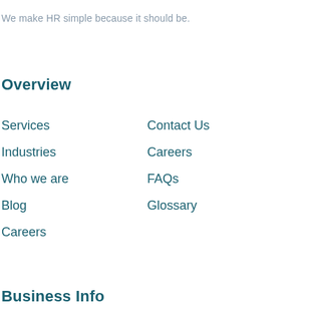We make HR simple because it should be.
Overview
Services
Industries
Who we are
Blog
Careers
Contact Us
Careers
FAQs
Glossary
Business Info